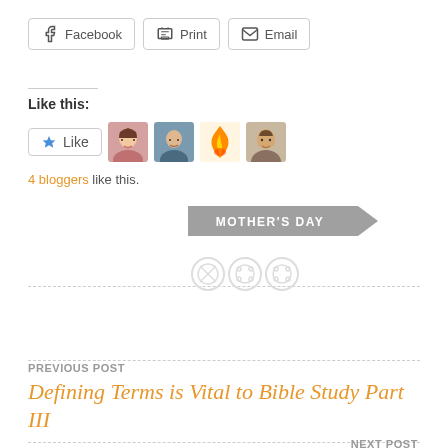[Figure (screenshot): Share buttons: Facebook, Print, Email]
Like this:
[Figure (screenshot): Like button and 4 blogger avatars including a flame emoji avatar]
4 bloggers like this.
[Figure (infographic): MOTHER'S DAY tag banner in grey]
[Figure (illustration): Three decorative button icons on a dashed divider line]
PREVIOUS POST
Defining Terms is Vital to Bible Study Part III
NEXT POST